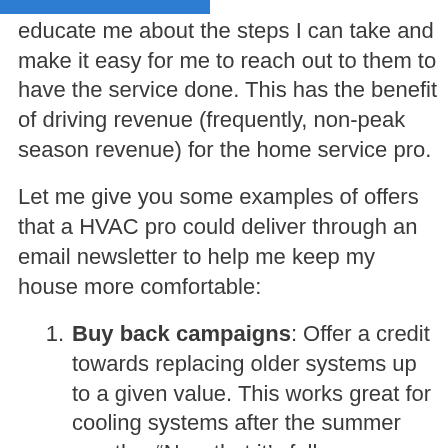educate me about the steps I can take and make it easy for me to reach out to them to have the service done. This has the benefit of driving revenue (frequently, non-peak season revenue) for the home service pro.
Let me give you some examples of offers that a HVAC pro could deliver through an email newsletter to help me keep my house more comfortable:
Buy back campaigns: Offer a credit towards replacing older systems up to a given value. This works great for cooling systems after the summer months: “Now that it’s fall, you may want to consider a replacement.” In